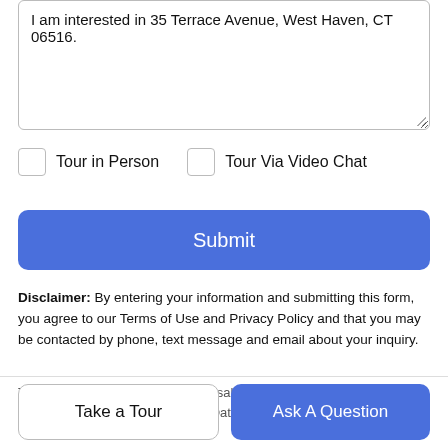I am interested in 35 Terrace Avenue, West Haven, CT 06516.
Tour in Person
Tour Via Video Chat
Submit
Disclaimer: By entering your information and submitting this form, you agree to our Terms of Use and Privacy Policy and that you may be contacted by phone, text message and email about your inquiry.
The data relating to real estate for sale on this website appears in part through the SMARTMLS Internet Data Exchange...
Take a Tour
Ask A Question